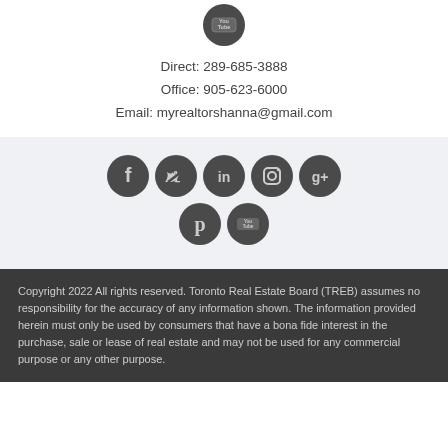[Figure (logo): YouTube icon circle in dark gray]
Direct: 289-685-3888
Office: 905-623-6000
Email: myrealtorshanna@gmail.com
[Figure (illustration): Row of social media icons: Facebook, Twitter, LinkedIn, Instagram, Google+, Pinterest, YouTube — all dark gray circles]
Copyright 2022 All rights reserved. Toronto Real Estate Board (TREB) assumes no responsibility for the accuracy of any information shown. The information provided herein must only be used by consumers that have a bona fide interest in the purchase, sale or lease of real estate and may not be used for any commercial purpose or any other purpose.